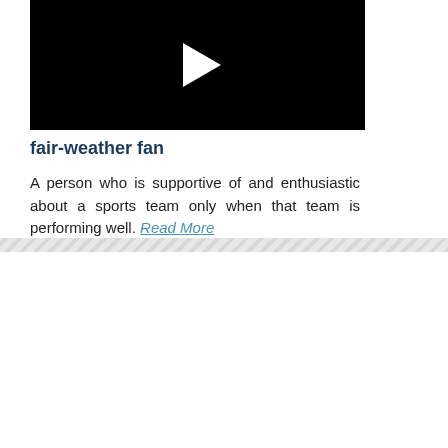[Figure (screenshot): Black video player with white play button triangle in center]
fair-weather fan
A person who is supportive of and enthusiastic about a sports team only when that team is performing well. Read More